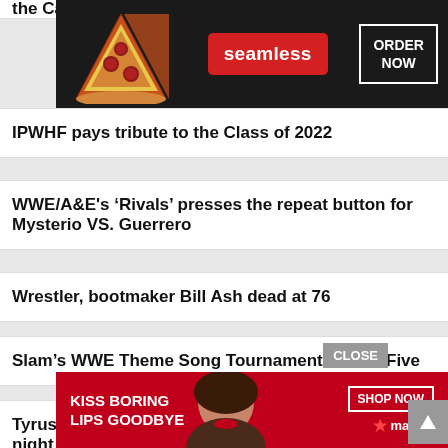the Castle
[Figure (other): Seamless food delivery advertisement showing pizza slices with 'seamless' red button and 'ORDER NOW' bordered text on dark background]
IPWHF pays tribute to the Class of 2022
WWE/A&E's 'Rivals' presses the repeat button for Mysterio VS. Guerrero
Wrestler, bootmaker Bill Ash dead at 76
Slam's WWE Theme Song Tournament Round Five
Tyrus and Trevor Murdoch go toe to toe on night two of NWA 74
WWE/A&E's very good 'Biography' on Rey Mysterio pulls no punches
[Figure (other): Macy's lipstick advertisement showing woman with red lips, 'KISS BORING LIPS GOODBYE' text, 'SHOP NOW' button, and Macy's star logo on red background]